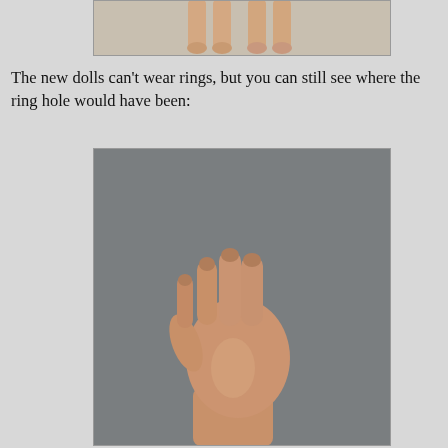[Figure (photo): Close-up photo of doll feet/lower legs against a beige background, shown from above inside a gray-bordered frame]
The new dolls can't wear rings, but you can still see where the ring hole would have been:
[Figure (photo): Close-up photo of a doll's hand (skin-toned plastic) raised with palm facing forward against a gray background, inside a gray-bordered frame]